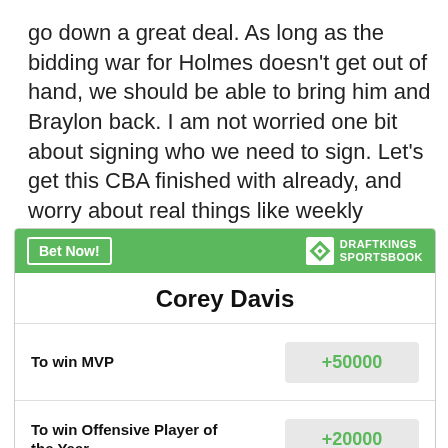go down a great deal. As long as the bidding war for Holmes doesn't get out of hand, we should be able to bring him and Braylon back. I am not worried one bit about signing who we need to sign. Let's get this CBA finished with already, and worry about real things like weekly matchups.
| Bet | Odds |
| --- | --- |
| To win MVP | +50000 |
| To win Offensive Player of the Year | +20000 |
| Most Receiving Yards in League | +15000 |